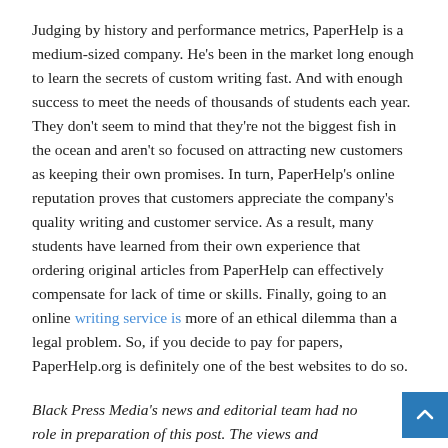Judging by history and performance metrics, PaperHelp is a medium-sized company. He's been in the market long enough to learn the secrets of custom writing fast. And with enough success to meet the needs of thousands of students each year. They don't seem to mind that they're not the biggest fish in the ocean and aren't so focused on attracting new customers as keeping their own promises. In turn, PaperHelp's online reputation proves that customers appreciate the company's quality writing and customer service. As a result, many students have learned from their own experience that ordering original articles from PaperHelp can effectively compensate for lack of time or skills. Finally, going to an online writing service is more of an ethical dilemma than a legal problem. So, if you decide to pay for papers, PaperHelp.org is definitely one of the best websites to do so.
Black Press Media's news and editorial team had no role in preparation of this post. The views and opinions expressed